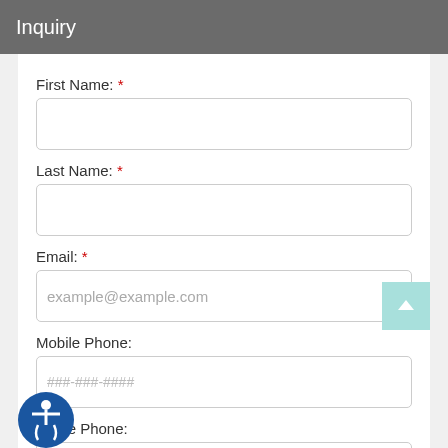Inquiry
First Name: *
Last Name: *
Email: *
Mobile Phone:
Home Phone:
Comments: